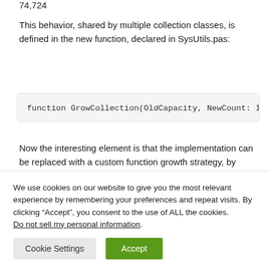74,724
This behavior, shared by multiple collection classes, is defined in the new function, declared in SysUtils.pas:
Now the interesting element is that the implementation can be replaced with a custom function growth strategy, by writing a new compatible function and calling the
We use cookies on our website to give you the most relevant experience by remembering your preferences and repeat visits. By clicking “Accept”, you consent to the use of ALL the cookies. Do not sell my personal information.